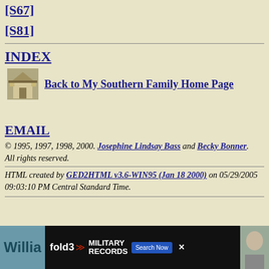[S67]
[S81]
INDEX
Back to My Southern Family Home Page
EMAIL
© 1995, 1997, 1998, 2000. Josephine Lindsay Bass and Becky Bonner. All rights reserved.
HTML created by GED2HTML v3.6-WIN95 (Jan 18 2000) on 05/29/2005 09:03:10 PM Central Standard Time.
[Figure (other): Advertisement banner for Fold3 Military Records by Ancestry]